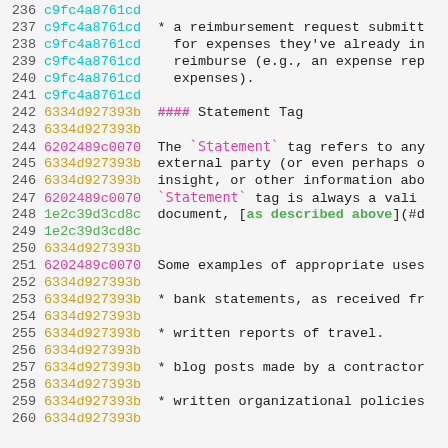Code view showing line numbers 236-260 with hash IDs and content including Statement Tag section
* a reimbursement request submitted for expenses they've already incurred, reimburse (e.g., an expense report for expenses).
#### Statement Tag
The `Statement` tag refers to any external party (or even perhaps other insight, or other information about. `Statement` tag is always a valid document, [as described above](#d
* bank statements, as received fr
* written reports of travel.
* blog posts made by a contractor
* written organizational policies